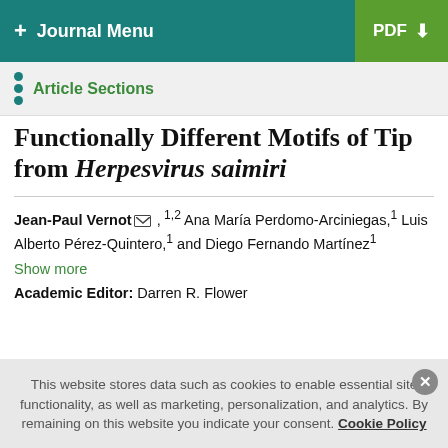+ Journal Menu | PDF
Article Sections
Functionally Different Motifs of Tip from Herpesvirus saimiri
Jean-Paul Vernot [envelope], 1,2 Ana María Perdomo-Arciniegas,1 Luis Alberto Pérez-Quintero,1 and Diego Fernando Martínez1
Show more
Academic Editor: Darren R. Flower
This website stores data such as cookies to enable essential site functionality, as well as marketing, personalization, and analytics. By remaining on this website you indicate your consent. Cookie Policy